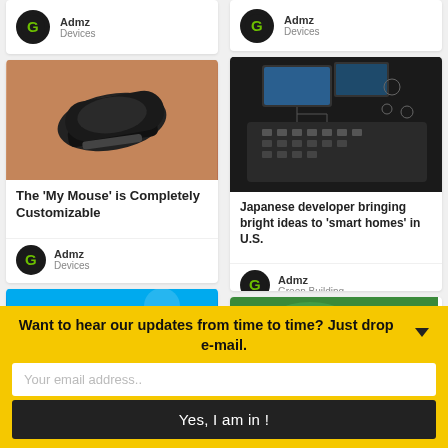[Figure (screenshot): Card stub at top-left showing Admz logo and Devices category]
[Figure (screenshot): Card at top-right showing Admz logo and Devices category]
[Figure (photo): Photo of a black ergonomic computer mouse with exposed circuit board]
The 'My Mouse' is Completely Customizable
[Figure (logo): Admz logo - green G on dark circle]
Admz
Devices
[Figure (photo): Photo of a smart home control panel with monitors and buttons in a dark room]
Japanese developer bringing bright ideas to 'smart homes' in U.S.
[Figure (logo): Admz logo - green G on dark circle]
Admz
Green Building
[Figure (photo): Partial photo of a smartwatch showing time 08:50]
[Figure (photo): Partial green nature/landscape photo]
[Figure (infographic): Yellow scroll-down arrow button]
Want to hear our updates from time to time? Just drop your e-mail.
Your email address..
Yes, I am in !